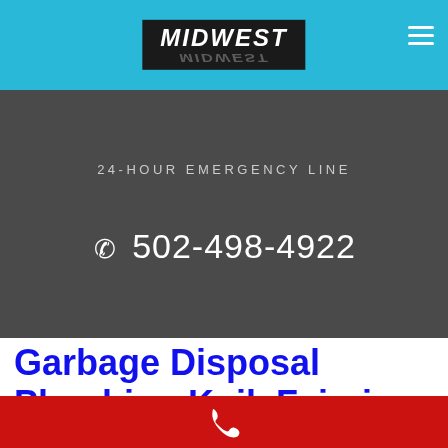MIDWEST
24-HOUR EMERGENCY LINE
✆ 502-498-4922
Garbage Disposal Plumbing Knik Fairview AK
[Figure (other): Red call bar with white phone icon at bottom of page]